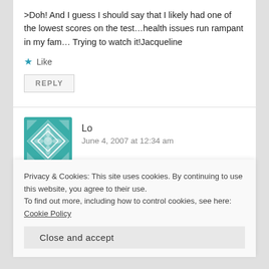>Doh! And I guess I should say that I likely had one of the lowest scores on the test...health issues run rampant in my fam… Trying to watch it!Jacqueline
★ Like
REPLY
Lo
June 4, 2007 at 12:34 am
>Welcome to The Lo Zone, Jacqueline!!! It's so wonderful to have you here. And it's never too late to laugh and/or cry with
Privacy & Cookies: This site uses cookies. By continuing to use this website, you agree to their use.
To find out more, including how to control cookies, see here: Cookie Policy
Close and accept